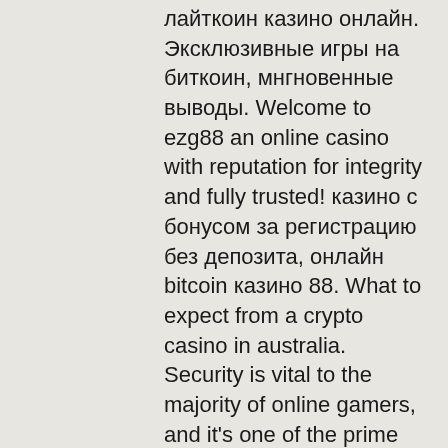лайткоин казино онлайн. Эксклюзивные игры на биткоин, мнгновенные выводы. Welcome to ezg88 an online casino with reputation for integrity and fully trusted! казино с бонусом за регистрацию без депозита, онлайн bitcoin казино 88. What to expect from a crypto casino in australia. Security is vital to the majority of online gamers, and it's one of the prime reasons that online casino
Die Kugel wird in Bewegung gesetzt und landet auf einer Zahl. Mogliche Gewinne werden anhand der Quoten ermittelt und ausgezahlt. Die 10 besten Online Roulette Varianten. Franzosisches und Europaisches Roulette gehoren sicherlich zu den am weitesten verbreiteten Spielvarianten, zumindest in Casinos bei uns in Europa, онлайн bitcoin казино 88. Durch das Internet haben sich aber auch andere Varianten und Spezialversionen etabliert.